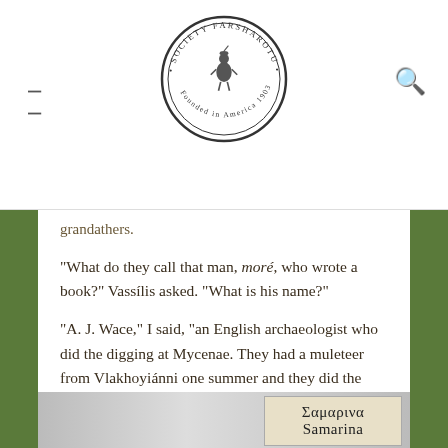Society Farsharotü — Founded in America 1903
grandathers.
“What do they call that man, moré, who wrote a book?” Vassílis asked. “What is his name?”
“A. J. Wace,” I said, “an English archaeologist who did the digging at Mycenae. They had a muleteer from Vlakhoyiánni one summer and they did the dhiáva with him in 1910. They went up to Samarína together.”
[Figure (photo): Black and white photograph with a road sign reading Σαμαρινα / Samarina in the lower right area]